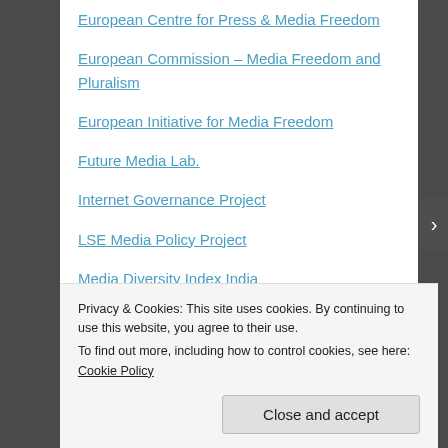European Centre for Press & Media Freedom
European Commission – Media Freedom and Pluralism
European Initiative for Media Freedom
Future Media Lab.
Internet Governance Project
LSE Media Policy Project
Media Diversity Index India
Media Diversity Institute
Media Foundation of Sparkasse Leipzig
Media Monitor
Media Ownership Monitor Philipphines
Privacy & Cookies: This site uses cookies. By continuing to use this website, you agree to their use.
To find out more, including how to control cookies, see here: Cookie Policy